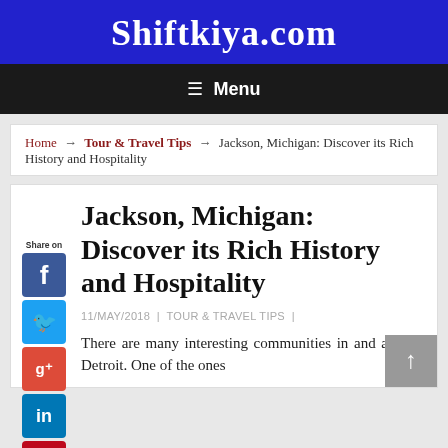Shiftkiya.com
≡ Menu
Home → Tour & Travel Tips → Jackson, Michigan: Discover its Rich History and Hospitality
Jackson, Michigan: Discover its Rich History and Hospitality
11/MAY/2018 | TOUR & TRAVEL TIPS |
There are many interesting communities in and around Detroit. One of the ones